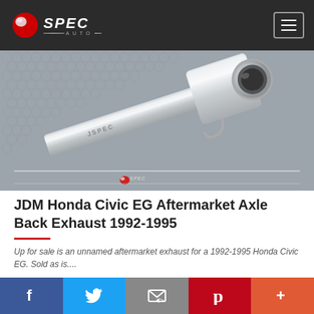JSpec Auto logo and navigation
[Figure (photo): Close-up photo of a stainless steel aftermarket axle back exhaust muffler/tip on a grey textured surface, with JSpec Auto watermark overlay at the bottom]
JDM Honda Civic EG Aftermarket Axle Back Exhaust 1992-1995
Up for sale is an unnamed aftermarket exhaust for a 1992-1995 Honda Civic EG. Sold as is....
AVAILABLE NOW  AVAILABLE NOW  $ 195
Social share bar: Facebook, Twitter, Email, Pinterest, More